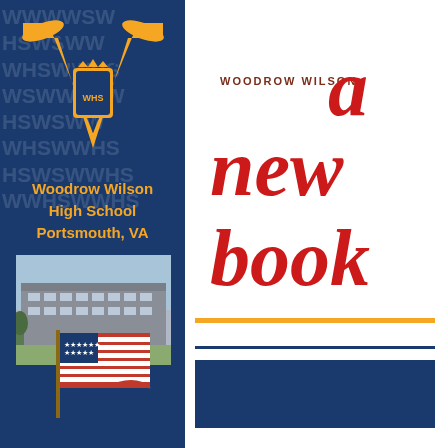[Figure (logo): Woodrow Wilson High School W logo with eagle and crest in orange and navy blue]
Woodrow Wilson High School Portsmouth, VA
[Figure (photo): Exterior photo of Woodrow Wilson High School building]
[Figure (illustration): American flag on a pole]
[Figure (logo): Woodrow Wilson 'a new book' text logo in red bubbly letters on white background]
[Figure (other): Orange horizontal line, blue thin line, and blue rectangular block at bottom right panel]